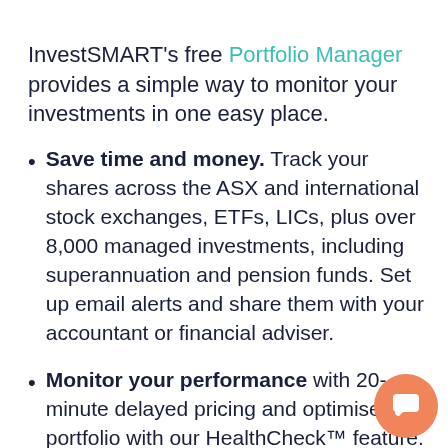InvestSMART's free Portfolio Manager provides a simple way to monitor your investments in one easy place.
Save time and money. Track your shares across the ASX and international stock exchanges, ETFs, LICs, plus over 8,000 managed investments, including superannuation and pension funds. Set up email alerts and share them with your accountant or financial adviser.
Monitor your performance with 20-minute delayed pricing and optimise portfolio with our HealthCheck™ feature.